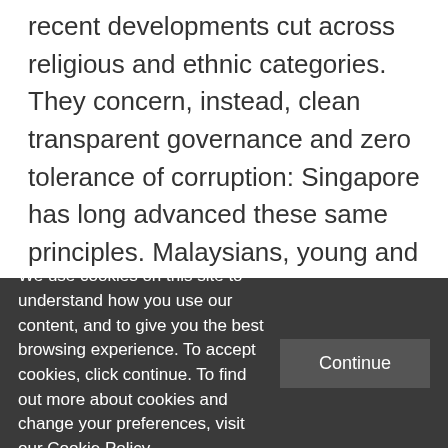recent developments cut across religious and ethnic categories. They concern, instead, clean transparent governance and zero tolerance of corruption: Singapore has long advanced these same principles. Malaysians, young and old, are excited and energised by their possibility. Concerned law-makers, conscientious observers, critical law-makers have all worked hard to stem the serious breakdown in transparency,
We use cookies on this site to understand how you use our content, and to give you the best browsing experience. To accept cookies, click continue. To find out more about cookies and change your preferences, visit our Cookie Policy.